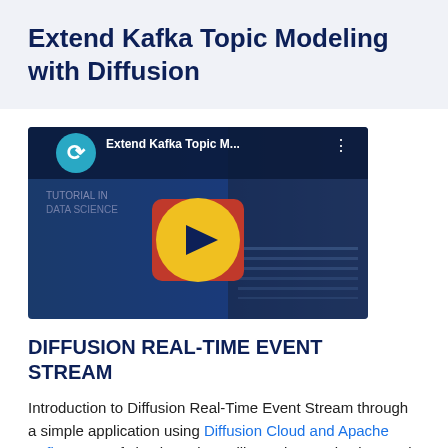Extend Kafka Topic Modeling with Diffusion
[Figure (screenshot): Video thumbnail showing 'Extend Kafka Topic M...' with a play button overlay, Diffusion logo in top left, and laptop keyboard in background]
DIFFUSION REAL-TIME EVENT STREAM
Introduction to Diffusion Real-Time Event Stream through a simple application using Diffusion Cloud and Apache Kafka. A set of simple projects, illustrating production, and